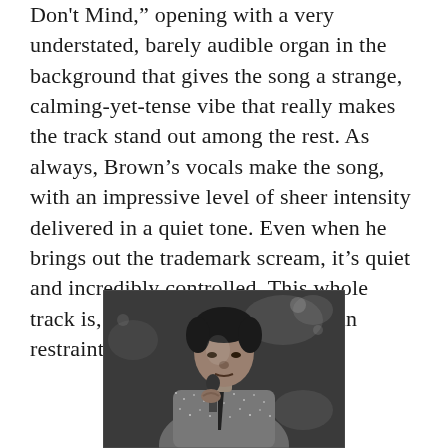Don't Mind," opening with a very understated, barely audible organ in the background that gives the song a strange, calming-yet-tense vibe that really makes the track stand out among the rest. As always, Brown's vocals make the song, with an impressive level of sheer intensity delivered in a quiet tone. Even when he brings out the trademark scream, it's quiet and incredibly controlled. This whole track is, simply put, a masterclass in restraint.
[Figure (photo): Black and white photograph of a man (James Brown) singing into a microphone on stage, wearing a sequined or sparkly jacket, holding the microphone close to his mouth, looking downward, with a dark background.]